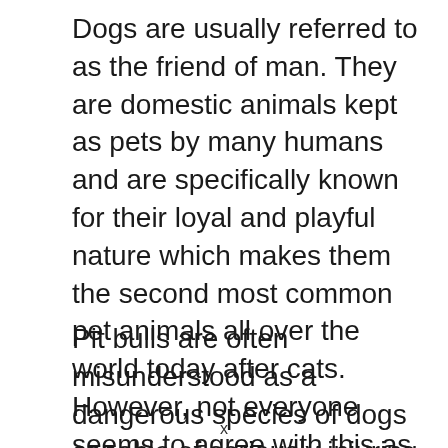Dogs are usually referred to as the friend of man. They are domestic animals kept as pets by many humans and are specifically known for their loyal and playful nature which makes them the second most common pet animals all over the world today after cats. However, not everyone seems to agree with this as the breed-specific legislation obviously shows.
Pit bulls are often misunderstood as a dangerous species of dogs capable of seriously injuring as well as killing people due to aggressive behavior they are inherently born with. Due to this incorrect labeling of the pitbull as a dangerous dog
x